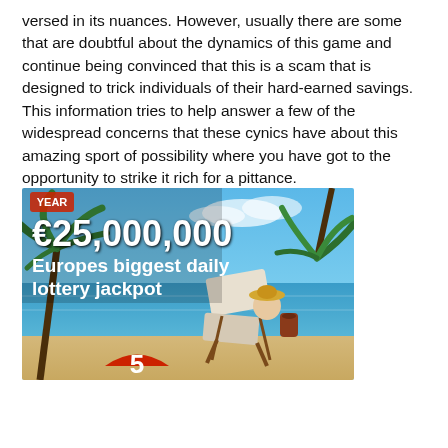versed in its nuances. However, usually there are some that are doubtful about the dynamics of this game and continue being convinced that this is a scam that is designed to trick individuals of their hard-earned savings. This information tries to help answer a few of the widespread concerns that these cynics have about this amazing sport of possibility where you have got to the opportunity to strike it rich for a pittance.
[Figure (illustration): Lottery advertisement banner showing a beach scene with a person in a deck chair under palm trees, with a lottery ball showing number 5 in the foreground. Text overlay reads '€25,000,000 Europes biggest daily lottery jackpot'.]